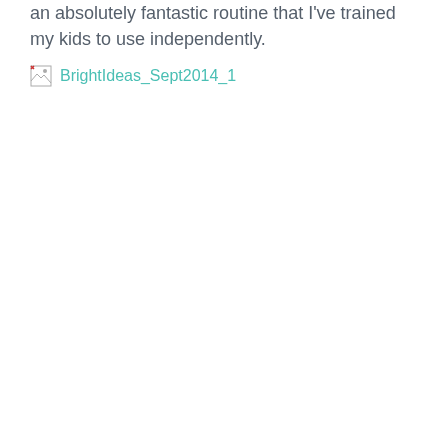an absolutely fantastic routine that I've trained my kids to use independently.
[Figure (other): Broken image placeholder with link text 'BrightIdeas_Sept2014_1']